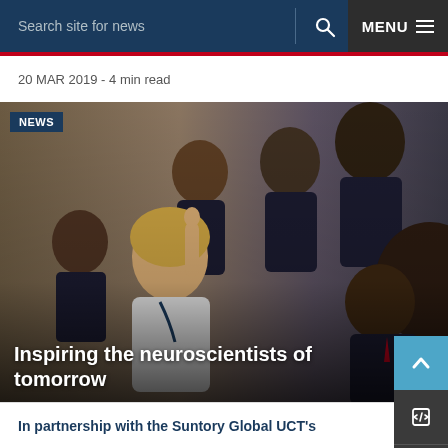Search site for news | MENU
20 MAR 2019 - 4 min read
[Figure (photo): A blonde female scientist or educator points upward while a group of school children in dark uniforms crowd around her attentively in what appears to be a museum or laboratory hallway.]
Inspiring the neuroscientists of tomorrow
In partnership with the Suntory Global UCT's